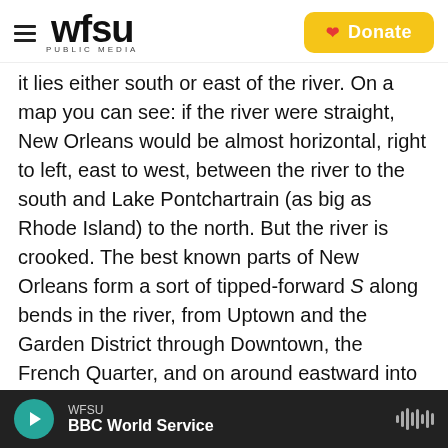WFSU PUBLIC MEDIA | Donate
it lies either south or east of the river. On a map you can see: if the river were straight, New Orleans would be almost horizontal, right to left, east to west, between the river to the south and Lake Pontchartrain (as big as Rhode Island) to the north. But the river is crooked. The best known parts of New Orleans form a sort of tipped-forward S along bends in the river, from Uptown and the Garden District through Downtown, the French Quarter, and on around eastward into Fauxborg Marigny and the Bywater. Within this S, Uptown is south (upriver) and Downtown north (downriver), because the river takes a northerly hitch. However, the part of the
WFSU | BBC World Service